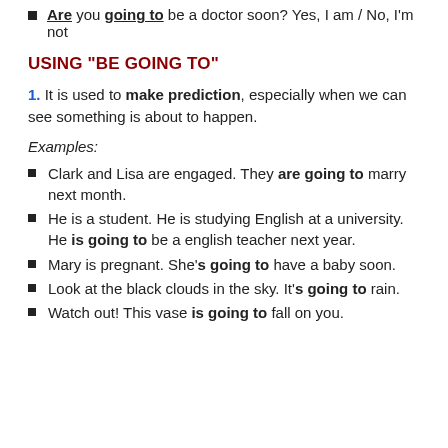Are you going to be a doctor soon? Yes, I am / No, I'm not
USING "BE GOING TO"
1. It is used to make prediction, especially when we can see something is about to happen.
Examples:
Clark and Lisa are engaged. They are going to marry next month.
He is a student. He is studying English at a university. He is going to be a english teacher next year.
Mary is pregnant. She's going to have a baby soon.
Look at the black clouds in the sky. It's going to rain.
Watch out! This vase is going to fall on you.